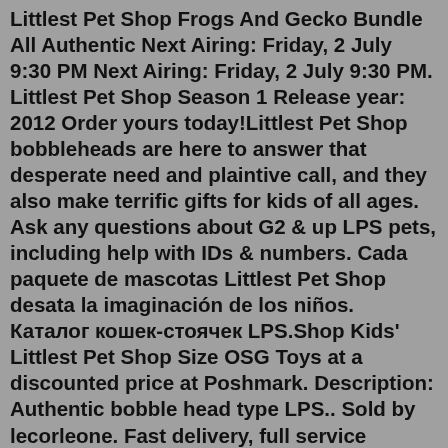Littlest Pet Shop Frogs And Gecko Bundle All Authentic Next Airing: Friday, 2 July 9:30 PM Next Airing: Friday, 2 July 9:30 PM. Littlest Pet Shop Season 1 Release year: 2012 Order yours today!Littlest Pet Shop bobbleheads are here to answer that desperate need and plaintive call, and they also make terrific gifts for kids of all ages. Ask any questions about G2 & up LPS pets, including help with IDs & numbers. Cada paquete de mascotas Littlest Pet Shop desata la imaginación de los niños. Каталог кошек-стоячек LPS.Shop Kids' Littlest Pet Shop Size OSG Toys at a discounted price at Poshmark. Description: Authentic bobble head type LPS.. Sold by lecorleone. Fast delivery, full service customer support. Our young daughter loves playing with her 'bobble heads' and having another playset to add to her LPS Town. ... Old LPS, Littlest Pet Shop, Old Littlest Pet Shop, LPS ... Compare 3 Toys littlest Pet Shop products at SHOP.COM, including Littlest Pet Shop Hungry Pets Mystery Pack, Littlest Pet Shop Thirsty Pets Mystery Pack, Littlest Pet Shop